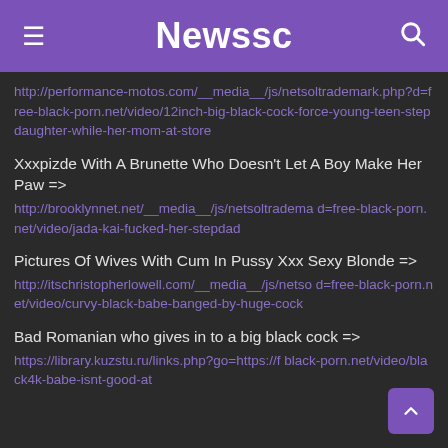Newssc
http://performance-motos.com/__media__/js/netsoltrademark.php?d=free-black-porn.net/video/12inch-big-black-cock-force-young-teen-stepdaughter-while-her-mom-at-store
Xxxpizde With A Brunette Who Doesn't Let A Boy Make Her Paw => http://brooklynnet.net/__media__/js/netsoltradema d=free-black-porn.net/video/jada-kai-fucked-her-stepdad
Pictures Of Wives With Cum In Pussy Xxx Sexy Blonde => http://itschristopherlowell.com/__media__/js/netso d=free-black-porn.net/video/curvy-black-babe-banged-by-huge-cock
Bad Romanian who gives in to a big black cock => https://library.kuzstu.ru/links.php?go=https://f black-porn.net/video/black4k-babe-isnt-good-at